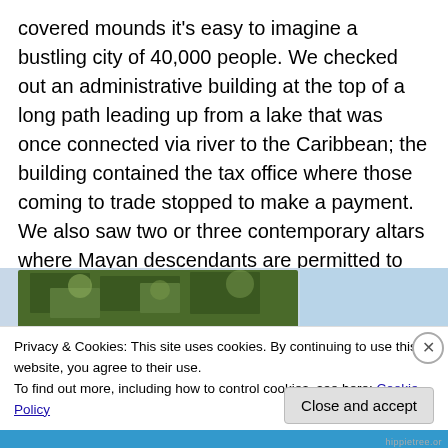covered mounds it's easy to imagine a bustling city of 40,000 people. We checked out an administrative building at the top of a long path leading up from a lake that was once connected via river to the Caribbean; the building contained the tax office where those coming to trade stopped to make a payment. We also saw two or three contemporary altars where Mayan descendants are permitted to enact occasional ceremonies; that would be something to see, but no gringos are permitted.
[Figure (photo): Partial photo of trees and sky, partially obscured by cookie consent banner]
Privacy & Cookies: This site uses cookies. By continuing to use this website, you agree to their use.
To find out more, including how to control cookies, see here: Cookie Policy
Close and accept